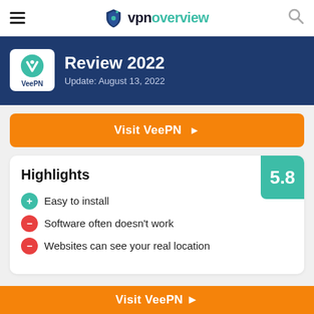vpnoverview navigation header
Review 2022
Update: August 13, 2022
Visit VeePN ▶
Highlights
5.8
Easy to install
Software often doesn't work
Websites can see your real location
Visit VeePN ▶